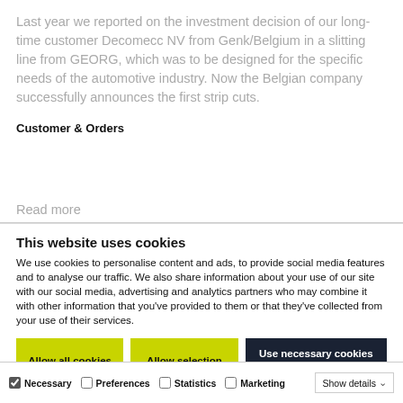Last year we reported on the investment decision of our long-time customer Decomecc NV from Genk/Belgium in a slitting line from GEORG, which was to be designed for the specific needs of the automotive industry. Now the Belgian company successfully announces the first strip cuts.
Customer & Orders
Read more
This website uses cookies
We use cookies to personalise content and ads, to provide social media features and to analyse our traffic. We also share information about your use of our site with our social media, advertising and analytics partners who may combine it with other information that you've provided to them or that they've collected from your use of their services.
Allow all cookies | Allow selection | Use necessary cookies only
Necessary  Preferences  Statistics  Marketing  Show details